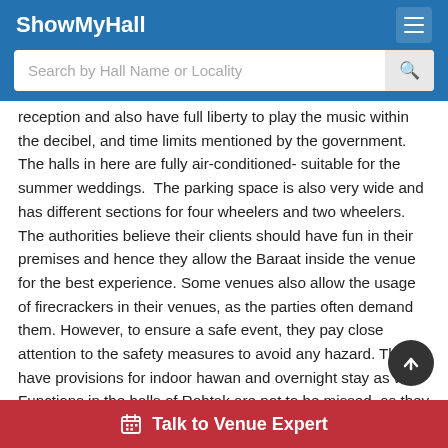ShowMyHall
Search by Hall Name or Locality
reception and also have full liberty to play the music within the decibel, and time limits mentioned by the government. The halls in here are fully air-conditioned- suitable for the summer weddings.  The parking space is also very wide and has different sections for four wheelers and two wheelers. The authorities believe their clients should have fun in their premises and hence they allow the Baraat inside the venue for the best experience. Some venues also allow the usage of firecrackers in their venues, as the parties often demand them. However, to ensure a safe event, they pay close attention to the safety measures to avoid any hazard. They have provisions for indoor hawan and overnight stay as well. Functions in the halls of Rohtak are not to be missed, as they will make your event memorable.
Talk to Venue Expert